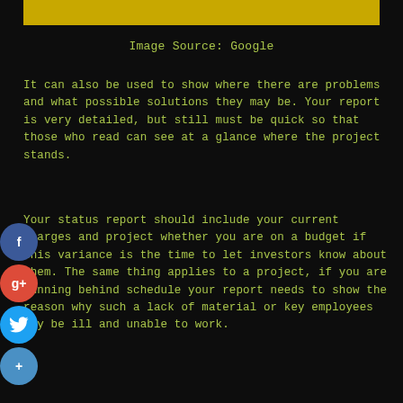[Figure (other): Yellow banner/header bar at top of page]
Image Source: Google
It can also be used to show where there are problems and what possible solutions they may be. Your report is very detailed, but still must be quick so that those who read can see at a glance where the project stands.
Your status report should include your current charges and project whether you are on a budget if this variance is the time to let investors know about them. The same thing applies to a project, if you are running behind schedule your report needs to show the reason why such a lack of material or key employees may be ill and unable to work.